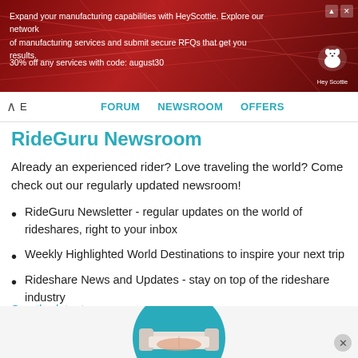[Figure (other): Advertisement banner for HeyScottie manufacturing services with red background and dog logo. Text: 'Expand your manufacturing capabilities with HeyScottie. Explore our network of manufacturing services and submit secure RFQs that get you results. 30% off any services with code: august30']
FORUM   NEWSROOM   OFFERS
RideGuru Newsroom
Already an experienced rider? Love traveling the world? Come check out our regularly updated newsroom!
RideGuru Newsletter - regular updates on the world of rideshares, right to your inbox
Weekly Highlighted World Destinations to inspire your next trip
Rideshare News and Updates - stay on top of the rideshare industry
See the latest news →
[Figure (illustration): Partial circular teal illustration with a sofa/couch icon visible at the bottom of the page, partially cropped]